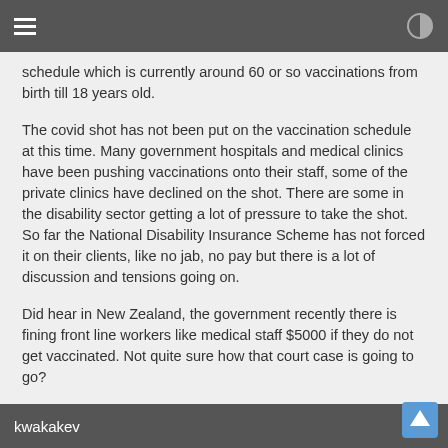schedule which is currently around 60 or so vaccinations from birth till 18 years old.
The covid shot has not been put on the vaccination schedule at this time. Many government hospitals and medical clinics have been pushing vaccinations onto their staff, some of the private clinics have declined on the shot. There are some in the disability sector getting a lot of pressure to take the shot. So far the National Disability Insurance Scheme has not forced it on their clients, like no jab, no pay but there is a lot of discussion and tensions going on.
Did hear in New Zealand, the government recently there is fining front line workers like medical staff $5000 if they do not get vaccinated. Not quite sure how that court case is going to go?
edit on 30-5-2021 by kwakakev because: spelling
kwakakev